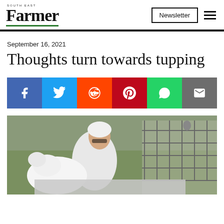South East Farmer — Newsletter
September 16, 2021
Thoughts turn towards tupping
[Figure (other): Social share buttons: Facebook, Twitter, Reddit, Pinterest, WhatsApp, Email]
[Figure (photo): Photograph of a person with white hair and sunglasses holding a white sheep/lamb in front of metal livestock pens on a grass field]